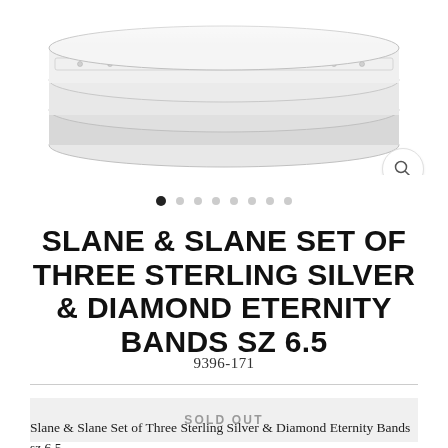[Figure (photo): Close-up photo of three sterling silver and diamond eternity bands stacked, shown partially cropped at top]
SLANE & SLANE SET OF THREE STERLING SILVER & DIAMOND ETERNITY BANDS SZ 6.5
9396-171
SOLD OUT
Slane & Slane Set of Three Sterling Silver & Diamond Eternity Bands sz 6.5